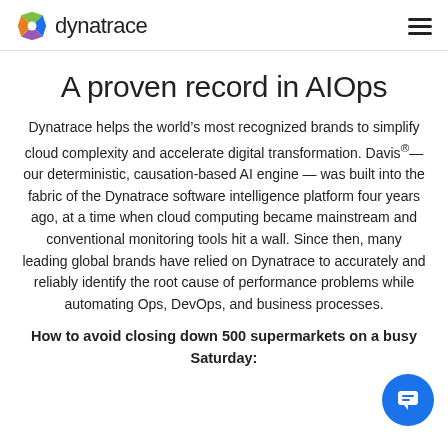dynatrace
A proven record in AIOps
Dynatrace helps the world’s most recognized brands to simplify cloud complexity and accelerate digital transformation. Davis®—our deterministic, causation-based AI engine — was built into the fabric of the Dynatrace software intelligence platform four years ago, at a time when cloud computing became mainstream and conventional monitoring tools hit a wall. Since then, many leading global brands have relied on Dynatrace to accurately and reliably identify the root cause of performance problems while automating Ops, DevOps, and business processes.
How to avoid closing down 500 supermarkets on a busy Saturday: